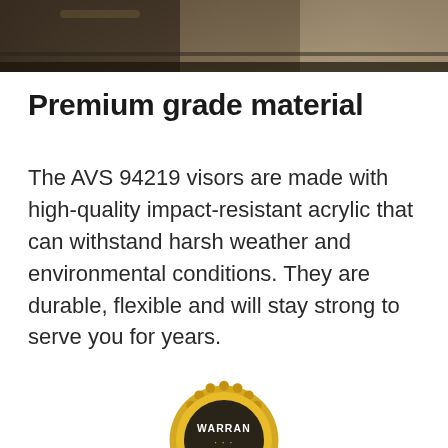[Figure (photo): Top portion of a car door or vehicle exterior with dark metallic surface, photographed close-up showing trim detail]
Premium grade material
The AVS 94219 visors are made with high-quality impact-resistant acrylic that can withstand harsh weather and environmental conditions. They are durable, flexible and will stay strong to serve you for years.
[Figure (illustration): Partial warranty badge/seal — gold serrated circular badge with dark center showing text 'WARRAN' (WARRANTY), partially cropped at bottom of page]